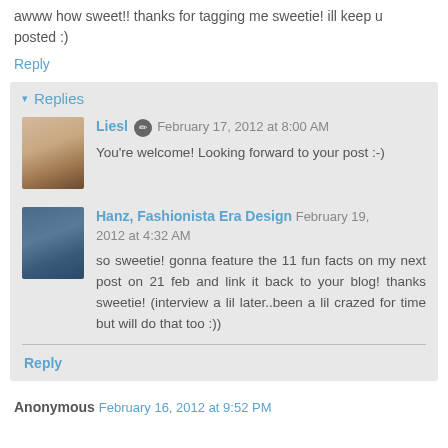awww how sweet!! thanks for tagging me sweetie! ill keep u posted :)
Reply
▾ Replies
Liesl ✏ February 17, 2012 at 8:00 AM
You're welcome! Looking forward to your post :-)
Hanz, Fashionista Era Design February 19, 2012 at 4:32 AM
so sweetie! gonna feature the 11 fun facts on my next post on 21 feb and link it back to your blog! thanks sweetie! (interview a lil later..been a lil crazed for time but will do that too :))
Reply
Anonymous February 16, 2012 at 9:52 PM